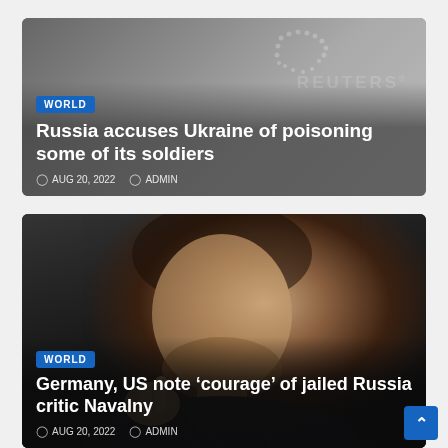[Figure (photo): News article card with grey gradient background and Reuters watermark, headline about Russia accusing Ukraine of poisoning soldiers]
Russia accuses Ukraine of poisoning some of its soldiers
WORLD  AUG 20, 2022  ADMIN
[Figure (photo): News article card with dark background and photo of Alexei Navalny smiling and gesturing, headline about Germany and US noting courage of jailed Russia critic Navalny]
Germany, US note ‘courage’ of jailed Russia critic Navalny
WORLD  AUG 20, 2022  ADMIN